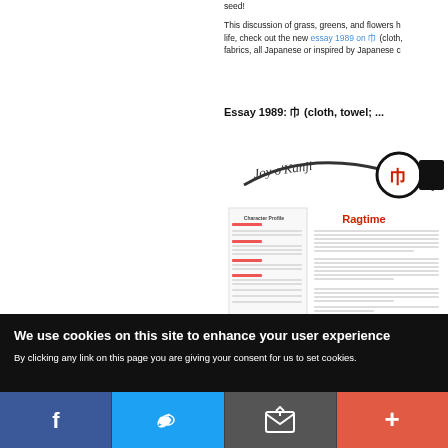seed!
This discussion of grass, greens, and flowers h... life, check out the new essay 1989 on 巾 (cloth, fabrics, all Japanese or inspired by Japanese d...
Essay 1989: 巾 (cloth, towel; ...
[Figure (screenshot): Joy o'Kanji essay preview showing character 巾 with title 'Ragtime' and character profile sidebar]
We use cookies on this site to enhance your user experience
By clicking any link on this page you are giving your consent for us to set cookies.
[Figure (infographic): Social sharing bar with Facebook, Twitter, Email, and Plus buttons]